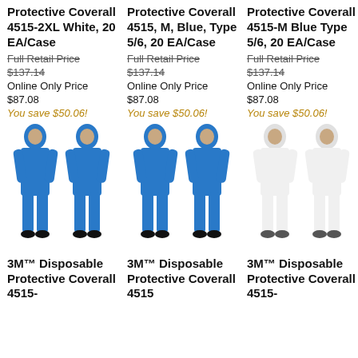3M™ Disposable Protective Coverall 4515-2XL White, 20 EA/Case
Full Retail Price $137.14
Online Only Price $87.08
You save $50.06!
3M™ Disposable Protective Coverall 4515, M, Blue, Type 5/6, 20 EA/Case
Full Retail Price $137.14
Online Only Price $87.08
You save $50.06!
3M™ Disposable Protective Coverall 4515-M Blue Type 5/6, 20 EA/Case
Full Retail Price $137.14
Online Only Price $87.08
You save $50.06!
[Figure (illustration): Two figures wearing blue disposable protective coveralls with hoods]
[Figure (illustration): Two figures wearing blue disposable protective coveralls with hoods]
[Figure (illustration): Two figures wearing white disposable protective coveralls with hoods]
3M™ Disposable Protective Coverall 4515-
3M™ Disposable Protective Coverall 4515
3M™ Disposable Protective Coverall 4515-